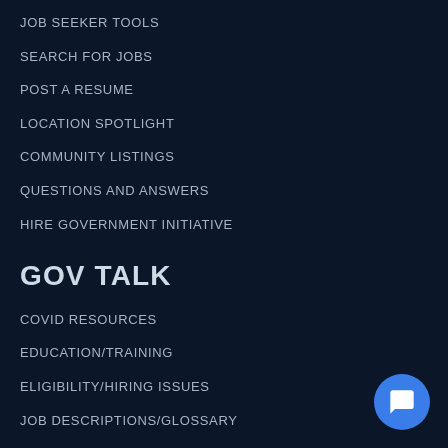JOB SEEKER TOOLS
SEARCH FOR JOBS
POST A RESUME
LOCATION SPOTLIGHT
COMMUNITY LISTINGS
QUESTIONS AND ANSWERS
HIRE GOVERNMENT INITIATIVE
GOV TALK
COVID RESOURCES
EDUCATION/TRAINING
ELIGIBILITY/HIRING ISSUES
JOB DESCRIPTIONS/GLOSSARY
OVERVIEW